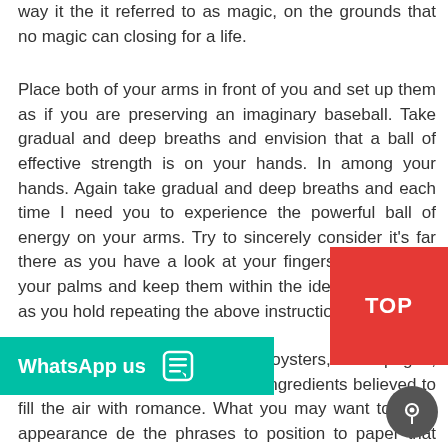way it the it referred to as magic, on the grounds that no magic can closing for a life.
Place both of your arms in front of you and set up them as if you are preserving an imaginary baseball. Take gradual and deep breaths and envision that a ball of effective strength is on your hands. In among your hands. Again take gradual and deep breaths and each time I need you to experience the powerful ball of energy on your arms. Try to sincerely consider it's far there as you have a look at your fingers. Do not flow your palms and keep them within the identical function as you hold repeating the above instructions.
You may not want to inn to oysters, champagne, chocolate, or some other secret ingredients believed to fill the air with romance. What you may want to do is appearance deep the phrases to position to paper that allow him know how very deeply